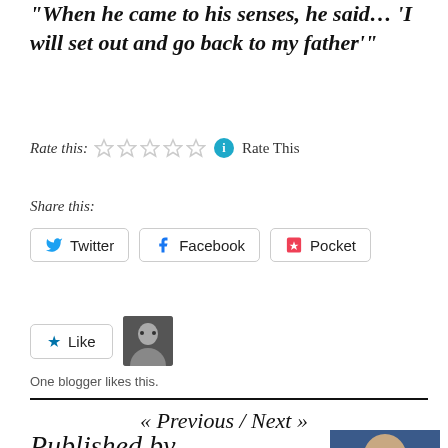"When he came to his senses, he said… 'I will set out and go back to my father'"
Rate this: ☆☆☆☆☆ ℹ Rate This
Share this:
Twitter Facebook Pocket
Like One blogger likes this.
« Previous / Next »
Published by